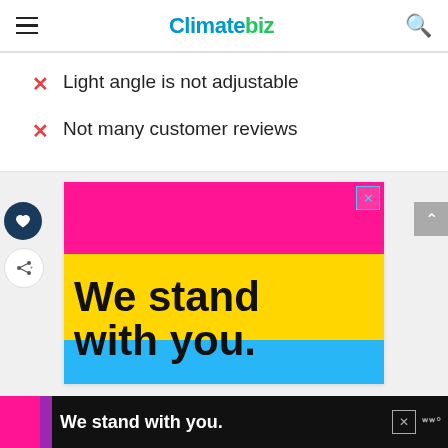Climatebiz
Light angle is not adjustable
Not many customer reviews
[Figure (illustration): Advertisement banner with pink top section, yellow and blue bottom section, bold text reading 'We stand with you.' with a close button in top right corner.]
We stand with you.